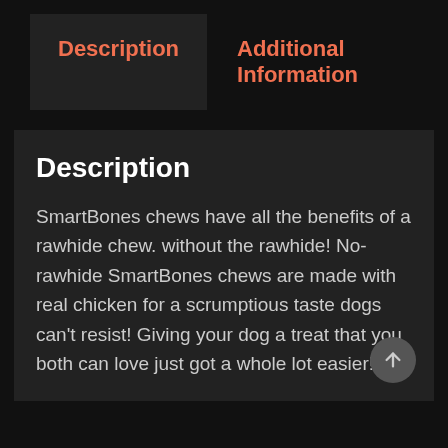Description
Additional Information
Description
SmartBones chews have all the benefits of a rawhide chew. without the rawhide! No-rawhide SmartBones chews are made with real chicken for a scrumptious taste dogs can't resist! Giving your dog a treat that you both can love just got a whole lot easier!